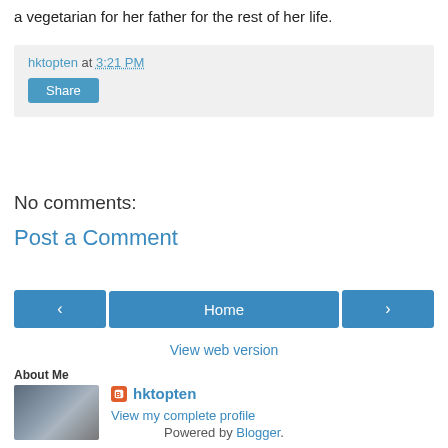a vegetarian for her father for the rest of her life.
hktopten at 3:21 PM
Share
No comments:
Post a Comment
‹
Home
›
View web version
About Me
[Figure (photo): Profile photo thumbnail showing a teddy bear and laptop]
hktopten
View my complete profile
Powered by Blogger.